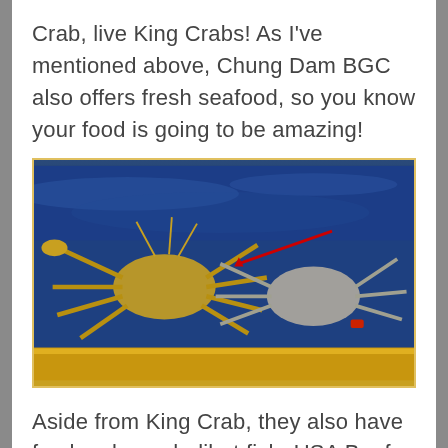Crab, live King Crabs! As I've mentioned above, Chung Dam BGC also offers fresh seafood, so you know your food is going to be amazing!
[Figure (photo): Live King Crabs in a blue-lit aquarium tank with a golden bottom border]
Aside from King Crab, they also have fresh salmon, halibut fish, USA Beef, and